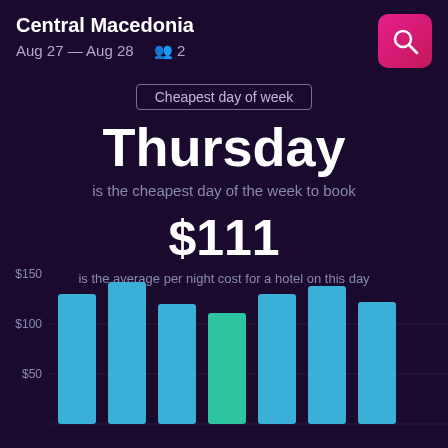Central Macedonia
Aug 27 — Aug 28   2
Cheapest day of week
Thursday
is the cheapest day of the week to book
$111
is the average per night cost for a hotel on this day
[Figure (bar-chart): Average hotel cost by day of week]